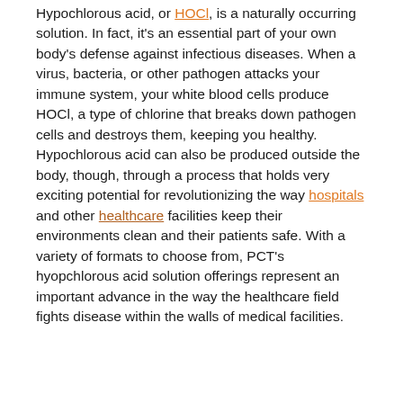Hypochlorous acid, or HOCl, is a naturally occurring solution. In fact, it's an essential part of your own body's defense against infectious diseases. When a virus, bacteria, or other pathogen attacks your immune system, your white blood cells produce HOCl, a type of chlorine that breaks down pathogen cells and destroys them, keeping you healthy. Hypochlorous acid can also be produced outside the body, though, through a process that holds very exciting potential for revolutionizing the way hospitals and other healthcare facilities keep their environments clean and their patients safe. With a variety of formats to choose from, PCT's hyopchlorous acid solution offerings represent an important advance in the way the healthcare field fights disease within the walls of medical facilities.